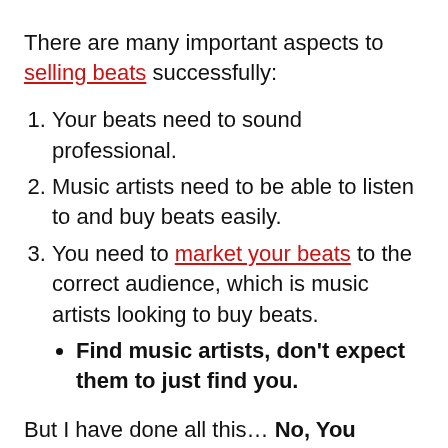There are many important aspects to selling beats successfully:
Your beats need to sound professional.
Music artists need to be able to listen to and buy beats easily.
You need to market your beats to the correct audience, which is music artists looking to buy beats.
Find music artists, don’t expect them to just find you.
But I have done all this… No, You Haven’t.
If you have tried the 3 suggestions above